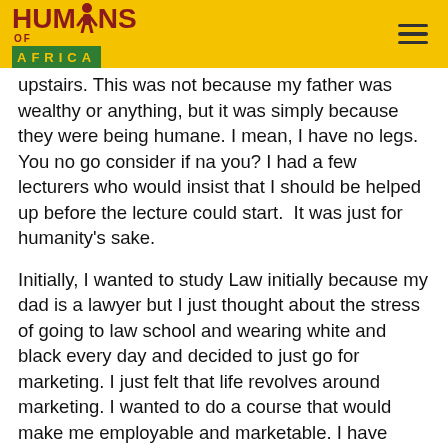HUMANS OF AFRICA
upstairs. This was not because my father was wealthy or anything, but it was simply because they were being humane. I mean, I have no legs. You no go consider if na you? I had a few lecturers who would insist that I should be helped up before the lecture could start.  It was just for humanity's sake.
Initially, I wanted to study Law initially because my dad is a lawyer but I just thought about the stress of going to law school and wearing white and black every day and decided to just go for marketing. I just felt that life revolves around marketing. I wanted to do a course that would make me employable and marketable. I have always had plans to work and earn money.
I was working on my exception from NYSC when I woke up one morning and found out that my name was